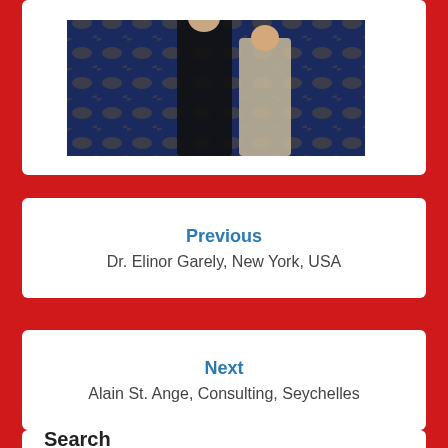[Figure (photo): Two people standing in a room with a decorative blue patterned carpet. The photo is partially cropped at the top.]
Previous
Dr. Elinor Garely, New York, USA
Next
Alain St. Ange, Consulting, Seychelles
Search